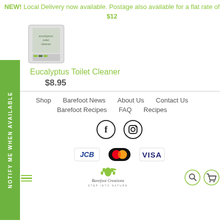NEW! Local Delivery now available. Postage also available for a flat rate of $12
[Figure (photo): Product image of Eucalyptus Toilet Cleaner in a white container]
Eucalyptus Toilet Cleaner
$8.95
NOTIFY ME WHEN AVAILABLE
Shop
Barefoot News
About Us
Contact Us
Barefoot Recipes
FAQ
Recipes
[Figure (illustration): Facebook social media icon in a circle]
[Figure (illustration): Instagram social media icon in a circle]
[Figure (illustration): JCB payment logo]
[Figure (illustration): MasterCard payment logo]
[Figure (illustration): VISA payment logo]
[Figure (logo): Barefoot Creations logo with footprint icon]
[Figure (illustration): Search icon in green circle]
[Figure (illustration): Shopping cart icon in green circle]